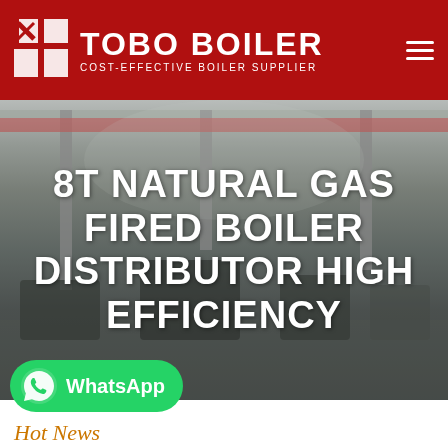[Figure (logo): TOBO BOILER logo with red background, white text, and grid/cube icon. Subtitle: COST-EFFECTIVE BOILER SUPPLIER]
[Figure (photo): Industrial factory interior showing boiler manufacturing equipment, cranes, and large machinery on a factory floor. Dimly lit industrial scene.]
8T NATURAL GAS FIRED BOILER DISTRIBUTOR HIGH EFFICIENCY
[Figure (logo): WhatsApp button — green rounded rectangle with WhatsApp phone icon and white text 'WhatsApp']
Hot News